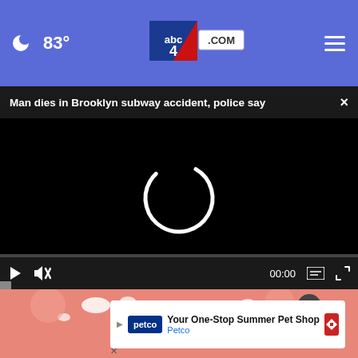83° abc4.com
Man dies in Brooklyn subway accident, police say
[Figure (screenshot): Video player with black background showing a loading spinner (partial circle arc) in the center, with video controls bar at the bottom showing play button, mute button, 00:00 timestamp, captions icon, and fullscreen icon]
[Figure (photo): Close-up image of skin with white specks/flakes, partially visible at bottom of page]
[Figure (other): Advertisement overlay: Petco - Your One-Stop Summer Pet Shop, with Petco logo and navigation icon]